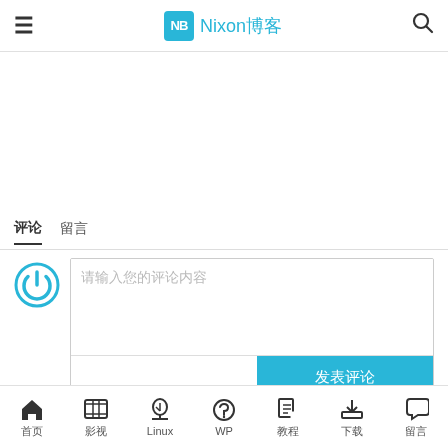Nixon博客
评论  留言
请输入您的评论内容
发表评论
昵称  网址 (可选)
首页 影视 Linux WP 教程 下载 留言